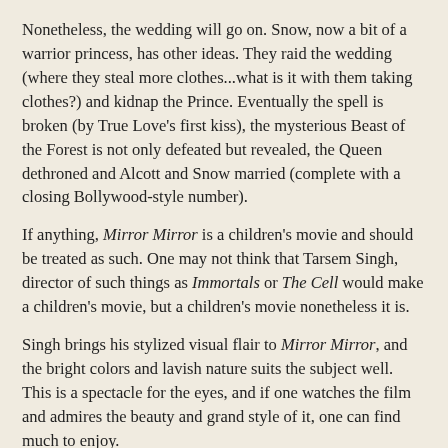Nonetheless, the wedding will go on.  Snow, now a bit of a warrior princess, has other ideas.  They raid the wedding (where they steal more clothes...what is it with them taking clothes?) and kidnap the Prince.  Eventually the spell is broken (by True Love's first kiss), the mysterious Beast of the Forest is not only defeated but revealed, the Queen dethroned and Alcott and Snow married (complete with a closing Bollywood-style number).
If anything, Mirror Mirror is a children's movie and should be treated as such.  One may not think that Tarsem Singh, director of such things as Immortals or The Cell would make a children's movie, but a children's movie nonetheless it is.
Singh brings his stylized visual flair to Mirror Mirror, and the bright colors and lavish nature suits the subject well.  This is a spectacle for the eyes, and if one watches the film and admires the beauty and grand style of it, one can find much to enjoy.
Costume designer Eiko Ishioka died after Mirror Mirror, and this is a brilliant high note on which to end her career (which included an Oscar for Bram Stoker's Dracula).  Ishioka appears to stick to a the theme and her designs are bolder and funkier than what the rest of the